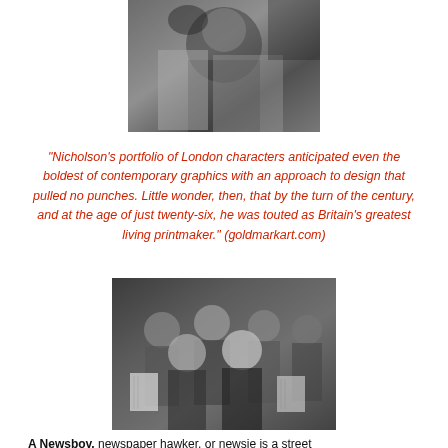[Figure (photo): Black and white photograph showing a partial figure, cropped at top of page]
"Nicholson’s portfolio of London characters anticipated even the boldest of contemporary graphics with an approach to design that pulled no punches. Little wonder, then, that by the turn of the century, and at the age of just twenty-six, he was touted as Britain’s greatest living printmaker." (goldmarkart.com)
[Figure (photo): Black and white photograph of a group of newsboys holding newspapers, posing together]
A Newsboy, newspaper hawker, or newsie is a street